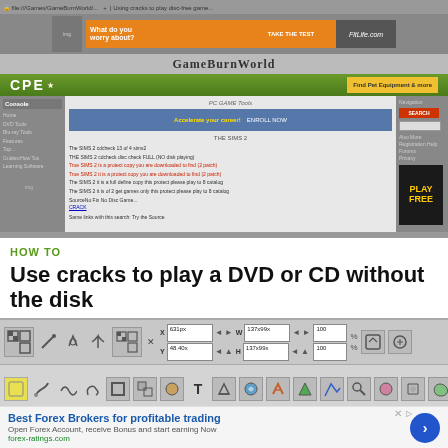[Figure (screenshot): Screenshot of GameBurnWorld website showing a PC game page with navigation, ads, and game file listings including crack information]
HOW TO
Use cracks to play a DVD or CD without the disk
[Figure (screenshot): Screenshot of an image editing application toolbar (appears to be GIMP or similar) showing tool icons, position coordinates X:631px Y:48.40x, dimensions W:137x99x H:137x99x, and zoom 100%]
Best Forex Brokers for profitable trading
Open Forex Account, receive Bonus and start earning Now
forex-ratings.com